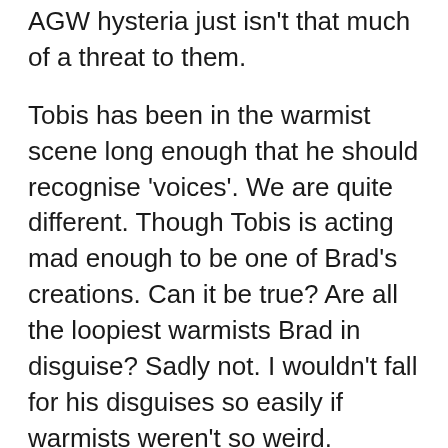AGW hysteria just isn't that much of a threat to them.
Tobis has been in the warmist scene long enough that he should recognise 'voices'. We are quite different. Though Tobis is acting mad enough to be one of Brad's creations. Can it be true? Are all the loopiest warmists Brad in disguise? Sadly not. I wouldn't fall for his disguises so easily if warmists weren't so weird.
I chose right at the beginning to don a disguise, purely for security reasons and the 'real' me has almost no internet contribution at all. I've no FB, Twitter or blog. I keep my head down. Having been Tiny for over 10